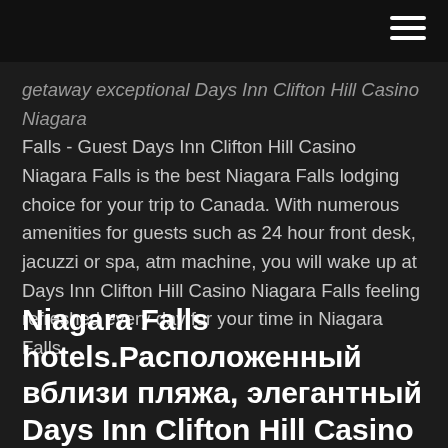[hamburger menu icon]
getaway exceptional Days Inn Clifton Hill Casino Niagara Falls - Guest Days Inn Clifton Hill Casino Niagara Falls is the best Niagara Falls lodging choice for your trip to Canada. With numerous amenities for guests such as 24 hour front desk, jacuzzi or spa, atm machine, you will wake up at Days Inn Clifton Hill Casino Niagara Falls feeling refreshed every day for your time in Niagara Falls.
Niagara Falls hotels.Расположенный вблизи пляжа, элегантный Days Inn Clifton Hill Casino предлагает размещение в 138 звуконепроницаемых номерах